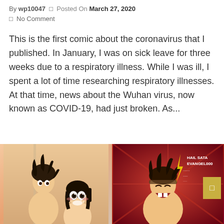By wp10047 ⬜ Posted On March 27, 2020
⬜ No Comment
This is the first comic about the coronavirus that I published. In January, I was on sick leave for three weeks due to a respiratory illness. While I was ill, I spent a lot of time researching respiratory illnesses. At that time, news about the Wuhan virus, now known as COVID-19, had just broken. As...
READ MORE ›
[Figure (illustration): Anime-style comic illustration showing two characters, one with spiky dark hair and one with dark bob hair with wide eyes, appears to be a bathroom scene]
[Figure (illustration): Anime-style comic illustration showing characters in an action/dramatic scene with red background and text overlay reading 'HAIL SATAN EVANGELOOOO']